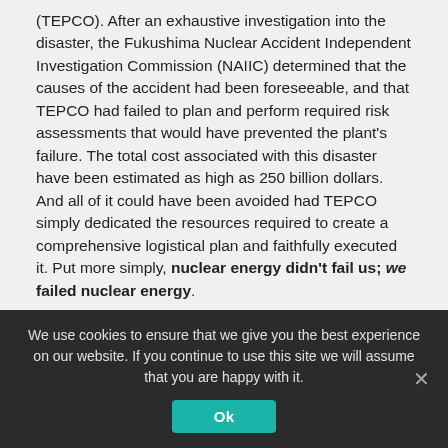(TEPCO). After an exhaustive investigation into the disaster, the Fukushima Nuclear Accident Independent Investigation Commission (NAIIC) determined that the causes of the accident had been foreseeable, and that TEPCO had failed to plan and perform required risk assessments that would have prevented the plant's failure. The total cost associated with this disaster have been estimated as high as 250 billion dollars. And all of it could have been avoided had TEPCO simply dedicated the resources required to create a comprehensive logistical plan and faithfully executed it. Put more simply, nuclear energy didn't fail us; we failed nuclear energy.
We use cookies to ensure that we give you the best experience on our website. If you continue to use this site we will assume that you are happy with it.